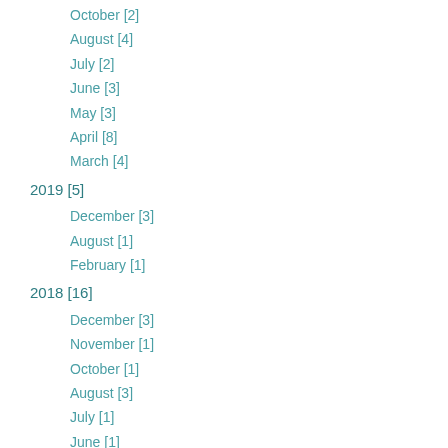October [2]
August [4]
July [2]
June [3]
May [3]
April [8]
March [4]
2019 [5]
December [3]
August [1]
February [1]
2018 [16]
December [3]
November [1]
October [1]
August [3]
July [1]
June [1]
May [1]
April [3]